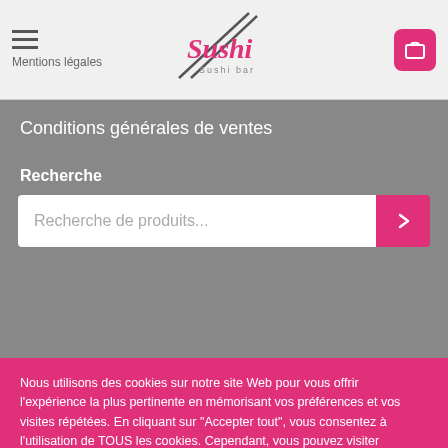Mentions légales
[Figure (logo): Sushi Sushi bar logo in pink cursive text with a chopstick graphic]
Conditions générales de ventes
Recherche
Recherche de produits...
Nous utilisons des cookies sur notre site Web pour vous offrir l'expérience la plus pertinente en mémorisant vos préférences et vos visites répétées. En cliquant sur "Accepter tout", vous consentez à l'utilisation de TOUS les cookies. Cependant, vous pouvez visiter "Paramètres des cookies" pour fournir un consentement contrôlé..
Cookie Settings
Tout accepter